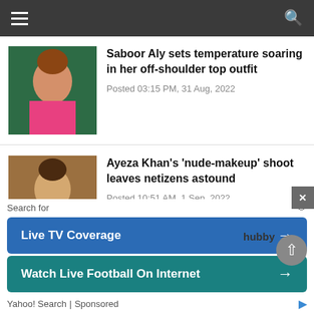Navigation bar with hamburger menu and search icon
Saboor Aly sets temperature soaring in her off-shoulder top outfit
Posted 03:15 PM, 31 Aug, 2022
Ayeza Khan's 'nude-makeup' shoot leaves netizens astound
Posted 10:51 AM, 1 Sep, 2022
Aamna Ilyas served with heavy criticism after wearing bold outfit
Posted 10:38 AM, 1 Sep, 2022
Search for
Live TV Coverage →
Watch Live Football On Internet →
Yahoo! Search | Sponsored
Posted 10:44 PM, 1 Sep, 2022